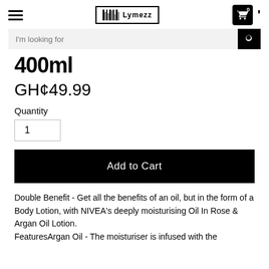Lymezz store header with hamburger menu, logo, cart icon, and search bar
400ml
GH¢49.99
Quantity
1
Add to Cart
Double Benefit - Get all the benefits of an oil, but in the form of a Body Lotion, with NIVEA's deeply moisturising Oil In Rose & Argan Oil Lotion. FeaturesArgan Oil - The moisturiser is infused with the